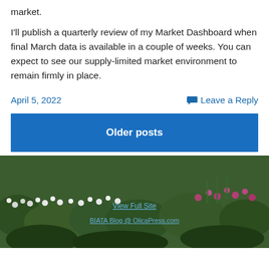market.
I'll publish a quarterly review of my Market Dashboard when final March data is available in a couple of weeks. You can expect to see our supply-limited market environment to remain firmly in place.
April 5, 2022
Leave a Reply
Older posts
[Figure (photo): Garden photo showing white and pink flowers with green foliage, with overlaid text links 'View Full Site' and 'BIATA Blog @ OlicaPress.com']